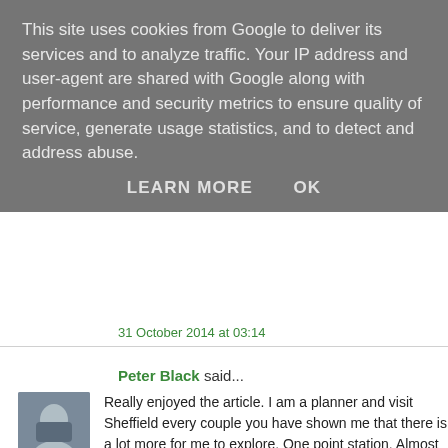This site uses cookies from Google to deliver its services and to analyze traffic. Your IP address and user-agent are shared with Google along with performance and security metrics to ensure quality of service, generate usage statistics, and to detect and address abuse.
LEARN MORE   OK
31 October 2014 at 03:14
Peter Black said...
Really enjoyed the article. I am a planner and visit Sheffield every couple you have shown me that there is a lot more for me to explore. One point station. Almost everyone gets off well before the end, which shows it is in place. Bus-rail interchange is a nice idea, but almost irrelevant in a large Sheffield.
2 December 2014 at 12:18
Joy Bullivant said...
Problem that Sheffield has had for a long term is that every grandiose improving things always ends up with funds cut by Government when it political persuasion and so all projects are half finished. Now completely funding it is leaving it to the University to fill the gaps and fairly diastro